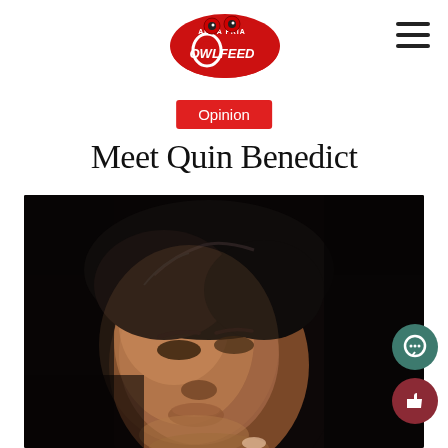[Figure (logo): Agua Fria OwlFeed logo with owl mascot in red and black]
Opinion
Meet Quin Benedict
[Figure (photo): Close-up portrait photo of a young person with dark curly hair, face partially lit with dramatic shadow, looking upward]